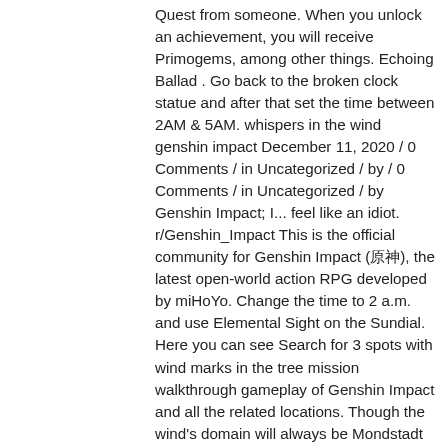Quest from someone. When you unlock an achievement, you will receive Primogems, among other things. Echoing Ballad . Go back to the broken clock statue and after that set the time between 2AM & 5AM. whispers in the wind genshin impact December 11, 2020 / 0 Comments / in Uncategorized / by / 0 Comments / in Uncategorized / by Genshin Impact; I... feel like an idiot. r/Genshin_Impact This is the official community for Genshin Impact (原神), the latest open-world action RPG developed by miHoYo. Change the time to 2 a.m. and use Elemental Sight on the Sundial. Here you can see Search for 3 spots with wind marks in the tree mission walkthrough gameplay of Genshin Impact and all the related locations. Though the wind's domain will always be Mondstadt and its surrounding area, the wind carries on regardless. There would be a dead duck or boar left on Amber's doorstep each morning you stayed over. mind … Two thousand and six hundred years ago, ... As its name would suggest, the sound of the wind caressing the leaves was like whispers in the woods. There you will find a small camp and a big pile of rocks that you need to break. On the south side of the island, near where the live Ruin Guard was, there will be a shovel piled up against rocks. History. Shrine 20. Some other random things that have spawned